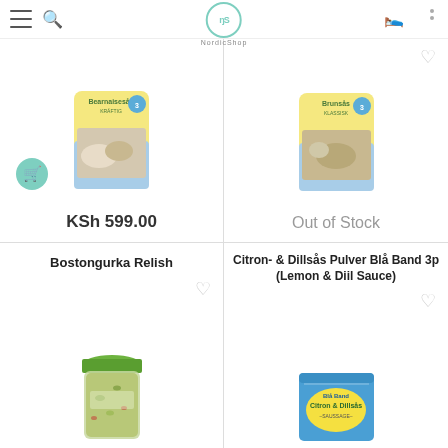NordicShop
[Figure (photo): Product image of Bearnaisesås sauce package]
KSh 599.00
[Figure (photo): Product image of Brunsås sauce package]
Out of Stock
Bostongurka Relish
[Figure (photo): Jar of Bostongurka Relish]
Citron- & Dillsås Pulver Blå Band 3p (Lemon & Diil Sauce)
[Figure (photo): Box of Citron & Dillsås Blå Band sauce powder]